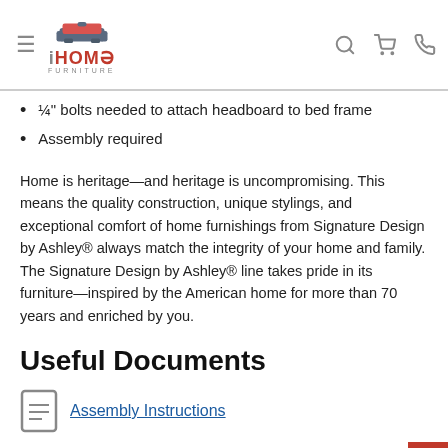iHOME FURNITURE
¼" bolts needed to attach headboard to bed frame
Assembly required
Home is heritage—and heritage is uncompromising. This means the quality construction, unique stylings, and exceptional comfort of home furnishings from Signature Design by Ashley® always match the integrity of your home and family. The Signature Design by Ashley® line takes pride in its furniture—inspired by the American home for more than 70 years and enriched by you.
Useful Documents
Assembly Instructions